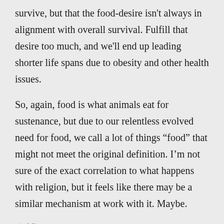survive, but that the food-desire isn't always in alignment with overall survival. Fulfill that desire too much, and we'll end up leading shorter life spans due to obesity and other health issues.
So, again, food is what animals eat for sustenance, but due to our relentless evolved need for food, we call a lot of things “food” that might not meet the original definition. I’m not sure of the exact correlation to what happens with religion, but it feels like there may be a similar mechanism at work with it. Maybe.
Like